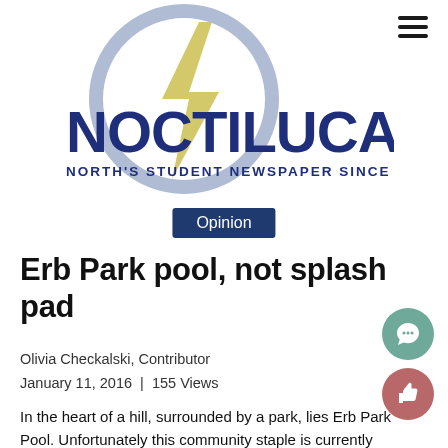[Figure (logo): Noctiluca newspaper logo — large dark navy bold text 'NOCTILUCA' with a lightning bolt graphic inside a circular design above the tagline 'NORTH'S STUDENT NEWSPAPER SINCE 1995']
Opinion
Erb Park pool, not splash pad
Olivia Checkalski, Contributor
January 11, 2016  |  155 Views
In the heart of a hill, surrounded by a park, lies Erb Park Pool. Unfortunately this community staple is currently